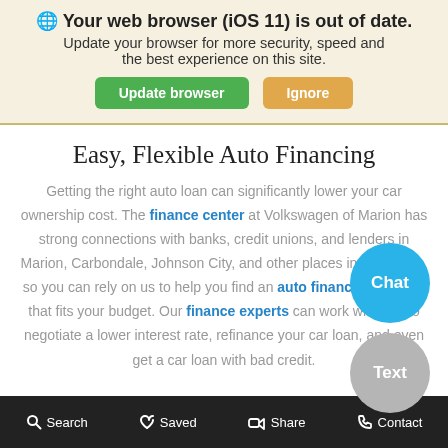Your web browser (iOS 11) is out of date. Update your browser for more security, speed and the best experience on this site. Update browser  Ignore
Easy, Flexible Auto Financing
Getting the right auto loan can significantly lower your car ownership cost. The finance center at Volkswagen of Marion has strong connections with banks, credit unions, and lenders in Marion, Carbondale, Johnson City, and other places in the region, so you can rely on us to help you find an auto financing solution that fits your budget. Our finance experts can work with you to negotiate a lower interest rate, refinance your car loan, and even get a car loan with bad credit.
[Figure (other): Chat button overlay bubble, teal/blue circular button with text 'Chat']
[Figure (other): Text button overlay bubble, gray circular button with text 'Text']
Search  Saved  Share  Contact